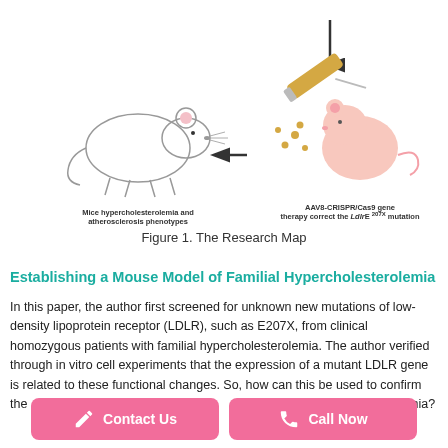[Figure (infographic): Research map diagram showing: a mouse illustration on the left labeled 'Mice hypercholesterolemia and atherosclerosis phenotypes were ameliorated'; an arrow pointing left toward the mouse; an AAV8-CRISPR/Cas9 syringe injecting a mouse/animal on the right, with text 'AAV8-CRISPR/Cas9 gene therapy correct the LdlrE 207X mutation'; an arrow from above pointing downward at the right animal.]
Figure 1. The Research Map
Establishing a Mouse Model of Familial Hypercholesterolemia
In this paper, the author first screened for unknown new mutations of low-density lipoprotein receptor (LDLR), such as E207X, from clinical homozygous patients with familial hypercholesterolemia. The author verified through in vitro cell experiments that the expression of a mutant LDLR gene is related to these functional changes. So, how can this be used to confirm the [Contact Us] is newly [Call Now] d familial hypercholesterolemia?